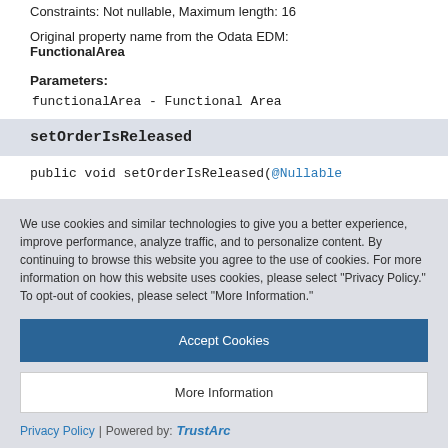Constraints: Not nullable, Maximum length: 16
Original property name from the Odata EDM: FunctionalArea
Parameters:
functionalArea - Functional Area
setOrderIsReleased
public void setOrderIsReleased(@Nullable
We use cookies and similar technologies to give you a better experience, improve performance, analyze traffic, and to personalize content. By continuing to browse this website you agree to the use of cookies. For more information on how this website uses cookies, please select "Privacy Policy." To opt-out of cookies, please select "More Information."
Accept Cookies
More Information
Privacy Policy | Powered by: TrustArc